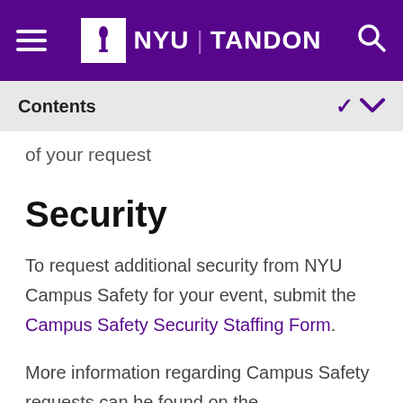NYU TANDON
Contents
of your request
Security
To request additional security from NYU Campus Safety for your event, submit the Campus Safety Security Staffing Form.
More information regarding Campus Safety requests can be found on the CampusSafetyLink - Request Safety Services